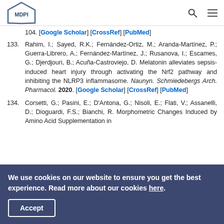MDPI
104. [Google Scholar] [CrossRef] [PubMed]
133. Rahim, I.; Sayed, R.K.; Fernández-Ortiz, M.; Aranda-Martínez, P.; Guerra-Librero, A.; Fernández-Martínez, J.; Rusanova, I.; Escames, G.; Djerdjouri, B.; Acuña-Castroviejo, D. Melatonin alleviates sepsis-induced heart injury through activating the Nrf2 pathway and inhibiting the NLRP3 inflammasome. Naunyn. Schmiedebergs Arch. Pharmacol. 2020. [Google Scholar] [CrossRef] [PubMed]
134. Corsetti, G.; Pasini, E.; D'Antona, G.; Nisoli, E.; Flati, V.; Assanelli, D.; Dioguardi, F.S.; Bianchi, R. Morphometric Changes Induced by Amino Acid Supplementation in
We use cookies on our website to ensure you get the best experience. Read more about our cookies here.
Accept